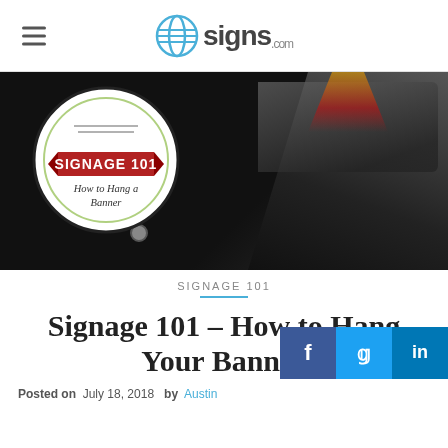signs.com
[Figure (photo): Close-up photo of a rolled black vinyl banner with grommets, overlaid with a circular badge reading 'SIGNAGE 101 – How to Hang a Banner']
SIGNAGE 101
Signage 101 – How to Hang Your Banner
Posted on  July 18, 2018  by Austin